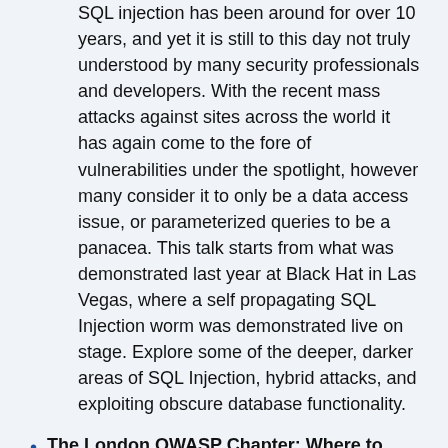SQL injection has been around for over 10 years, and yet it is still to this day not truly understood by many security professionals and developers. With the recent mass attacks against sites across the world it has again come to the fore of vulnerabilities under the spotlight, however many consider it to only be a data access issue, or parameterized queries to be a panacea. This talk starts from what was demonstrated last year at Black Hat in Las Vegas, where a self propagating SQL Injection worm was demonstrated live on stage. Explore some of the deeper, darker areas of SQL Injection, hybrid attacks, and exploiting obscure database functionality.
The London OWASP Chapter: Where to next? - Justin Clarke
We have a enormous amount of web application security experience and knowhow in the London area, but the question is how can we tap that at OWASP? And what can we, or what should we do with that? This session will be an open discussion (to be continued later over a beer no doubt) to discuss where we want to go with OWASP